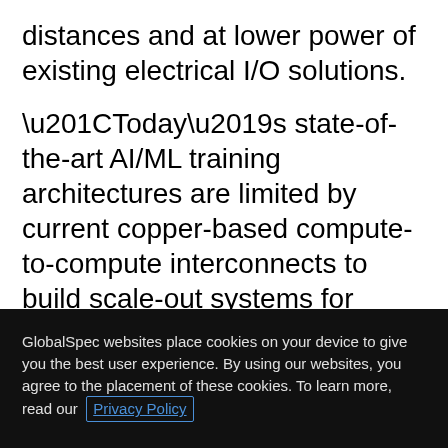distances and at lower power of existing electrical I/O solutions.
“Today’s state-of-the-art AI/ML training architectures are limited by current copper-based compute-to-compute interconnects to build scale-out systems for tomorrow’s requirements,” said Charles Wuischpard, CEO of Ayar Labs. “Our work with Nvidia to develop next-generation solutions based on optical I/O provides the foundation for the next leap in AI
GlobalSpec websites place cookies on your device to give you the best user experience. By using our websites, you agree to the placement of these cookies. To learn more, read our Privacy Policy